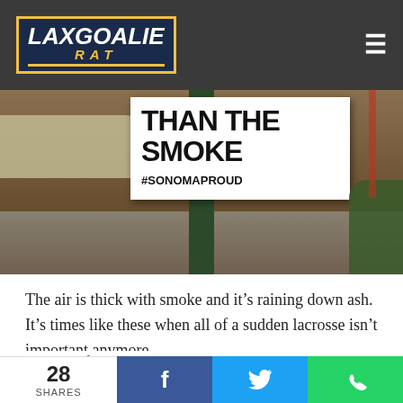LaxGoalie Rat - navigation header
[Figure (photo): Photo of a white sign with bold black text reading 'THAN THE SMOKE' and '#SONOMAPROUD' below, mounted on a post, with a car and street visible in the background under smoky conditions.]
The air is thick with smoke and it’s raining down ash. It’s times like these when all of a sudden lacrosse isn’t important anymore.
Instead of lacrosse photos and daily shenanigans, my Facebook feed is filled with the statuses of high school
28 SHARES  f  [Twitter bird]  [WhatsApp]